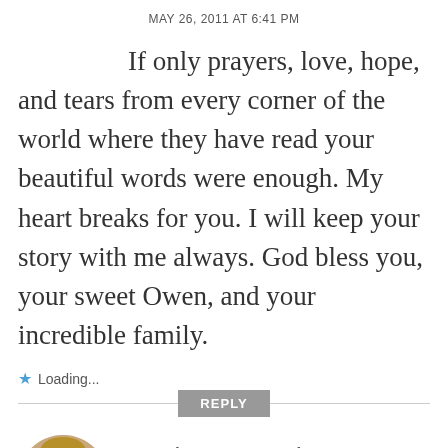MAY 26, 2011 AT 6:41 PM
If only prayers, love, hope, and tears from every corner of the world where they have read your beautiful words were enough. My heart breaks for you. I will keep your story with me always. God bless you, your sweet Owen, and your incredible family.
Loading...
REPLY
monica peapod
MAY 26, 2011 AT 6:42 PM